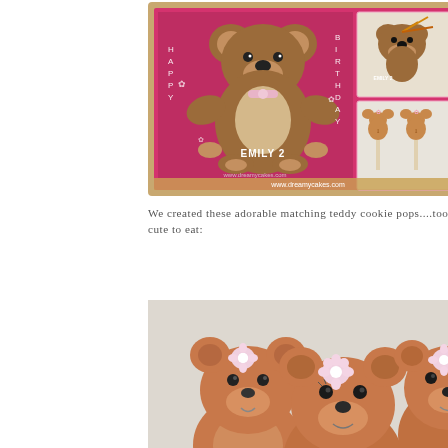[Figure (photo): Collage of teddy bear birthday cake and cookie pops. Main image shows a large decorated teddy bear cookie/cake with 'EMILY 2' text on pink background with 'Happy Birthday' text. Side images show a smaller teddy bear with orange/gold ribbons labeled 'EMILY 2' and cookie pops shaped like teddy bears and number 1 on sticks. www.dreamycakes.com watermark visible.]
We created these adorable matching teddy cookie pops....too cute to eat:
[Figure (photo): Close-up photo of teddy bear shaped cookie pops on sticks. Three brown iced teddy bear cookies with pink and white flower decorations on their heads, with drawn-on facial features, arranged together against a light background.]